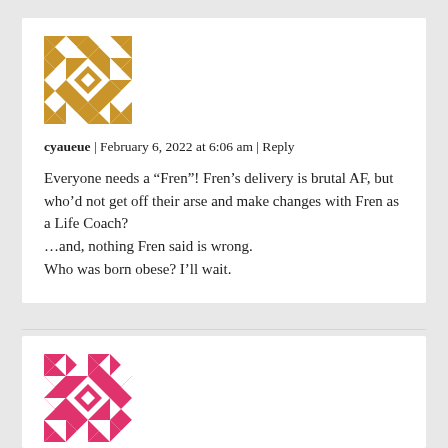[Figure (illustration): Gold geometric/mosaic avatar icon with diamond and triangle patterns]
cyaueue | February 6, 2022 at 6:06 am | Reply
Everyone needs a “Fren”! Fren’s delivery is brutal AF, but who’d not get off their arse and make changes with Fren as a Life Coach?
…and, nothing Fren said is wrong.
Who was born obese? I’ll wait.
[Figure (illustration): Pink/magenta geometric/mosaic avatar icon with diamond and triangle patterns]